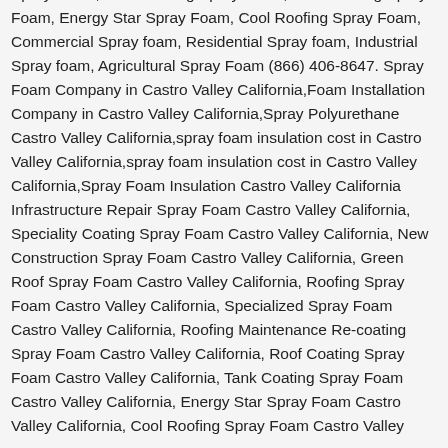Spray Foam, Roof Coating Spray Foam, Tank Coating Spray Foam, Energy Star Spray Foam, Cool Roofing Spray Foam, Commercial Spray foam, Residential Spray foam, Industrial Spray foam, Agricultural Spray Foam (866) 406-8647. Spray Foam Company in Castro Valley California,Foam Installation Company in Castro Valley California,Spray Polyurethane Castro Valley California,spray foam insulation cost in Castro Valley California,spray foam insulation cost in Castro Valley California,Spray Foam Insulation Castro Valley California Infrastructure Repair Spray Foam Castro Valley California, Speciality Coating Spray Foam Castro Valley California, New Construction Spray Foam Castro Valley California, Green Roof Spray Foam Castro Valley California, Roofing Spray Foam Castro Valley California, Specialized Spray Foam Castro Valley California, Roofing Maintenance Re-coating Spray Foam Castro Valley California, Roof Coating Spray Foam Castro Valley California, Tank Coating Spray Foam Castro Valley California, Energy Star Spray Foam Castro Valley California, Cool Roofing Spray Foam Castro Valley